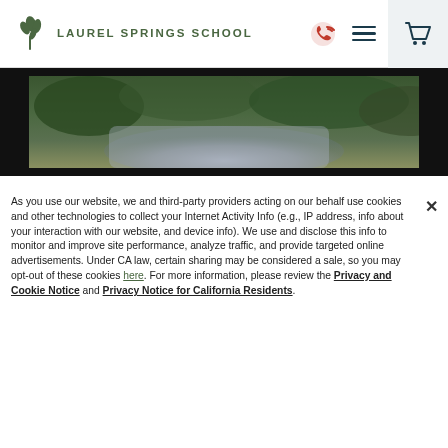[Figure (logo): Laurel Springs School logo with green leaf icon and text]
[Figure (screenshot): Website screenshot showing video banner of nature/waterfall scene with black background]
As you use our website, we and third-party providers acting on our behalf use cookies and other technologies to collect your Internet Activity Info (e.g., IP address, info about your interaction with our website, and device info). We use and disclose this info to monitor and improve site performance, analyze traffic, and provide targeted online advertisements. Under CA law, certain sharing may be considered a sale, so you may opt-out of these cookies here. For more information, please review the Privacy and Cookie Notice and Privacy Notice for California Residents.